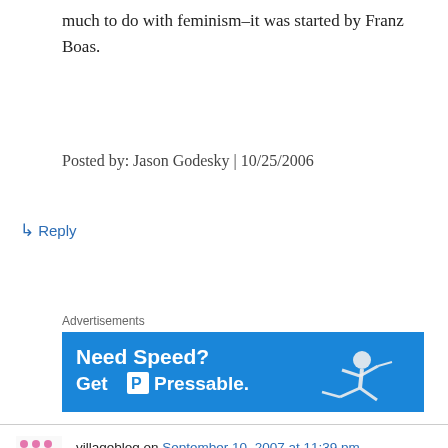much to do with feminism–it was started by Franz Boas.
Posted by: Jason Godesky | 10/25/2006
↳ Reply
Advertisements
[Figure (other): Advertisement banner: blue background with white bold text 'Need Speed? Get P Pressable.' and a figure of a person leaping/running.]
villageblog on September 10, 2007 at 11:39 pm
Privacy & Cookies: This site uses cookies. By continuing to use this website, you agree to their use.
To find out more, including how to control cookies, see here: Cookie Policy
Close and accept